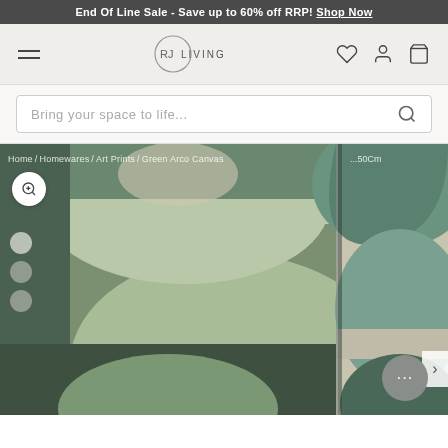End Of Line Sale - Save up to 60% off RRP! Shop Now
[Figure (logo): RJ Living logo with hamburger menu, heart, user account, and cart icons in navigation bar]
Bring your space to life...
[Figure (photo): Green abstract art canvas rug showing geometric shapes and circles in various shades of green, brown and beige/linen. Split view showing two angles of the same rug. Breadcrumb: Home / Homewares / Art Prints / Green Arco Canvas. Size label: ...50Cm. Zoom button, thumbnail dots, chat bubble and next arrow overlaid.]